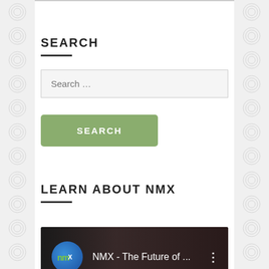SEARCH
Search …
SEARCH
LEARN ABOUT NMX
[Figure (screenshot): Video thumbnail showing NMX logo (blue circle with 'nmX' text) and title 'NMX - The Future of ...' on dark background with vertical dots menu icon]